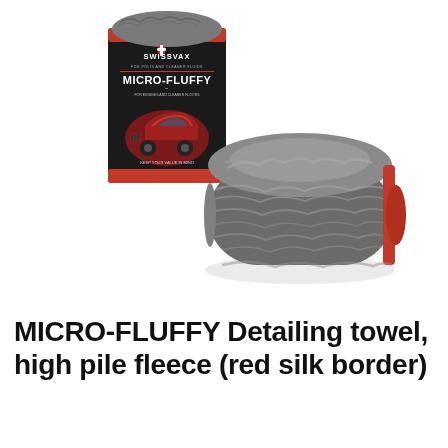[Figure (photo): Product photo showing two Swissvax Micro-Fluffy detailing towels — one rolled up showing grey high-pile fleece with a red silk border edge, and one standing upright in its black and red retail packaging labeled 'SWISSVAX MICRO-FLUFFY' with an image of a classic red car on the box.]
MICRO-FLUFFY Detailing towel, high pile fleece (red silk border)